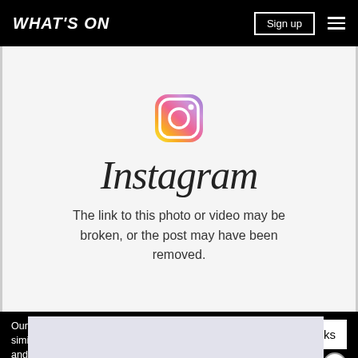WHAT'S ON
[Figure (logo): Instagram logo icon — rounded square with gradient (yellow to pink to purple) and camera outline]
Instagram
The link to this photo or video may be broken, or the post may have been removed.
Our website uses cookies and other similar technologies to improve our site and your online experience. By continuing to use our website you consent ... our pr...